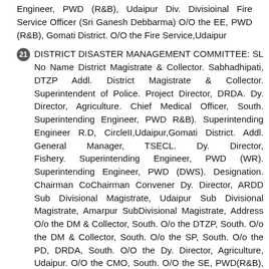Engineer, PWD (R&B), Udaipur Div. Divisioinal Fire Service Officer (Sri Ganesh Debbarma) O/O the EE, PWD (R&B), Gomati District. O/O the Fire Service,Udaipur
21 DISTRICT DISASTER MANAGEMENT COMMITTEE: SL No Name District Magistrate & Collector. Sabhadhipati, DTZP Addl. District Magistrate & Collector. Superintendent of Police. Project Director, DRDA. Dy. Director, Agriculture. Chief Medical Officer, South. Superintending Engineer, PWD R&B). Superintending Engineer R.D, CircleII,Udaipur,Gomati District. Addl. General Manager, TSECL. Dy. Director, Fishery. Superintending Engineer, PWD (WR). Superintending Engineer, PWD (DWS). Designation. Chairman CoChairman Convener Dy. Director, ARDD Sub Divisional Magistrate, Udaipur Sub Divisional Magistrate, Amarpur SubDivisional Magistrate, Address O/o the DM & Collector, South. O/o the DTZP, South. O/o the DM & Collector, South. O/o the SP, South. O/o the PD, DRDA, South. O/O the Dy. Director, Agriculture, Udaipur. O/O the CMO, South. O/O the SE, PWD(R&B), South. O/O the Superintending Engineer,RD Circle II O/O the AGM, TSECL, South. O/O the Dy. Dir. Fishery, Udaipur. O/O the SE, PWD